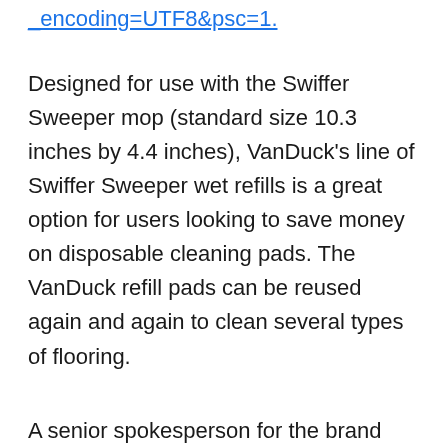_encoding=UTF8&psc=1.
Designed for use with the Swiffer Sweeper mop (standard size 10.3 inches by 4.4 inches), VanDuck’s line of Swiffer Sweeper wet refills is a great option for users looking to save money on disposable cleaning pads. The VanDuck refill pads can be reused again and again to clean several types of flooring.
A senior spokesperson for the brand says, “Our wet Swiffer mop pads are the best alternative to throw-